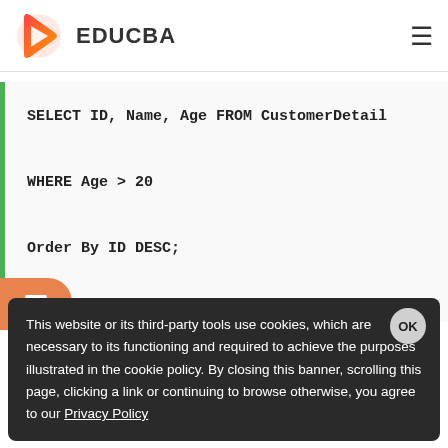EDUCBA
[Figure (screenshot): SQL code block with green left border showing: SELECT ID, Name, Age FROM CustomerDetail / WHERE Age > 20 / Order By ID DESC;]
The above query will select all the records which have age ordered first it base data.
This website or its third-party tools use cookies, which are necessary to its functioning and required to achieve the purposes illustrated in the cookie policy. By closing this banner, scrolling this page, clicking a link or continuing to browse otherwise, you agree to our Privacy Policy